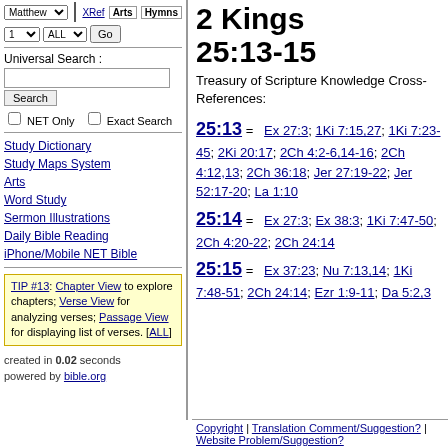Matthew [dropdown] XRef | Arts | Hymns
1 [dropdown] ALL [dropdown] Go
Universal Search :
Search | NET Only | Exact Search
Study Dictionary
Study Maps System
Arts
Word Study
Sermon Illustrations
Daily Bible Reading
iPhone/Mobile NET Bible
TIP #13: Chapter View to explore chapters; Verse View for analyzing verses; Passage View for displaying list of verses. [ALL]
created in 0.02 seconds
powered by bible.org
2 Kings 25:13-15
Treasury of Scripture Knowledge Cross-References:
25:13 = Ex 27:3; 1Ki 7:15,27; 1Ki 7:23-45; 2Ki 20:17; 2Ch 4:2-6,14-16; 2Ch 4:12,13; 2Ch 36:18; Jer 27:19-22; Jer 52:17-20; La 1:10
25:14 = Ex 27:3; Ex 38:3; 1Ki 7:47-50; 2Ch 4:20-22; 2Ch 24:14
25:15 = Ex 37:23; Nu 7:13,14; 1Ki 7:48-51; 2Ch 24:14; Ezr 1:9-11; Da 5:2,3
Copyright | Translation Comment/Suggestion? | Website Problem/Suggestion?